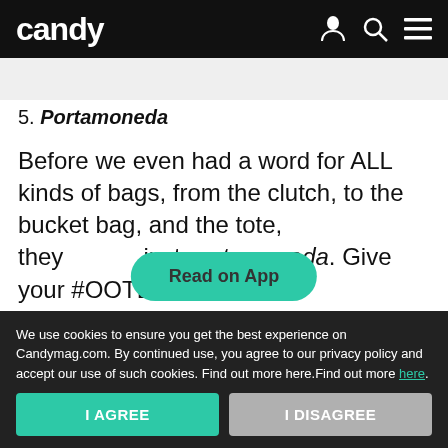candy
5. Portamoneda
Before we even had a word for ALL kinds of bags, from the clutch, to the bucket bag, and the tote, they just portamoneda. Give your #OOTDs an old-
[Figure (screenshot): Read on App button overlay in teal/green color]
We use cookies to ensure you get the best experience on Candymag.com. By continued use, you agree to our privacy policy and accept our use of such cookies. Find out more here.Find out more here.
I AGREE
I DISAGREE